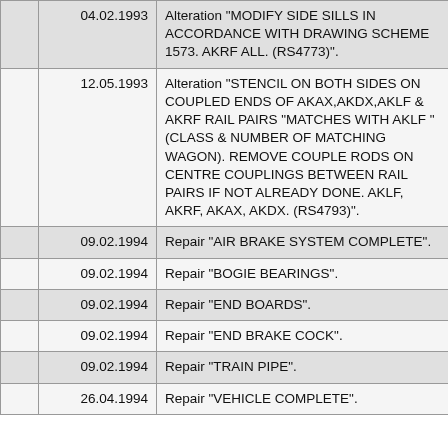|  | 04.02.1993 | Alteration "MODIFY SIDE SILLS IN ACCORDANCE WITH DRAWING SCHEME 1573. AKRF ALL. (RS4773)". |
|  | 12.05.1993 | Alteration "STENCIL ON BOTH SIDES ON COUPLED ENDS OF AKAX,AKDX,AKLF & AKRF RAIL PAIRS "MATCHES WITH AKLF " (CLASS & NUMBER OF MATCHING WAGON). REMOVE COUPLE RODS ON CENTRE COUPLINGS BETWEEN RAIL PAIRS IF NOT ALREADY DONE. AKLF, AKRF, AKAX, AKDX. (RS4793)". |
|  | 09.02.1994 | Repair "AIR BRAKE SYSTEM COMPLETE". |
|  | 09.02.1994 | Repair "BOGIE BEARINGS". |
|  | 09.02.1994 | Repair "END BOARDS". |
|  | 09.02.1994 | Repair "END BRAKE COCK". |
|  | 09.02.1994 | Repair "TRAIN PIPE". |
|  | 26.04.1994 | Repair "VEHICLE COMPLETE". |